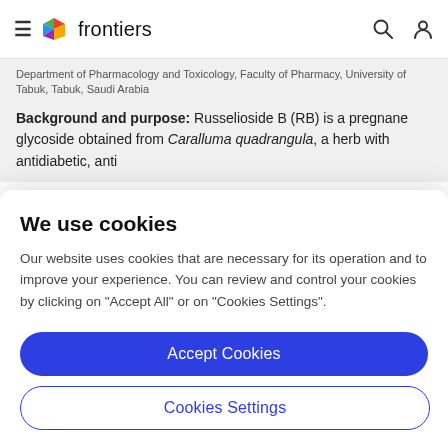frontiers
Department of Pharmacology and Toxicology, Faculty of Pharmacy, University of Tabuk, Tabuk, Saudi Arabia
Background and purpose: Russelioside B (RB) is a pregnane glycoside obtained from Caralluma quadrangula a herb with antidiabetic, anti
We use cookies
Our website uses cookies that are necessary for its operation and to improve your experience. You can review and control your cookies by clicking on "Accept All" or on "Cookies Settings".
Accept Cookies
Cookies Settings